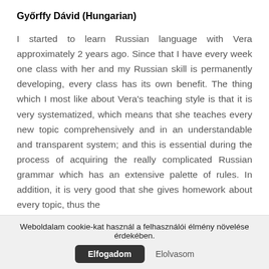Győrffy Dávid (Hungarian)
I started to learn Russian language with Vera approximately 2 years ago. Since that I have every week one class with her and my Russian skill is permanently developing, every class has its own benefit. The thing which I most like about Vera's teaching style is that it is very systematized, which means that she teaches every new topic comprehensively and in an understandable and transparent system; and this is essential during the process of acquiring the really complicated Russian grammar which has an extensive palette of rules. In addition, it is very good that she gives homework about every topic, thus the
Weboldalam cookie-kat használ a felhasználói élmény növelése érdekében.
Elfogadom
Elolvasom